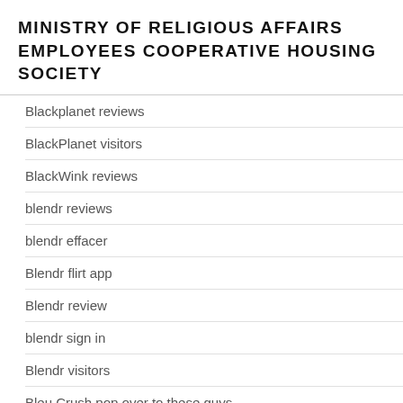MINISTRY OF RELIGIOUS AFFAIRS EMPLOYEES COOPERATIVE HOUSING SOCIETY
Blackplanet reviews
BlackPlanet visitors
BlackWink reviews
blendr reviews
blendr effacer
Blendr flirt app
Blendr review
blendr sign in
Blendr visitors
Bleu Crush pop over to these guys